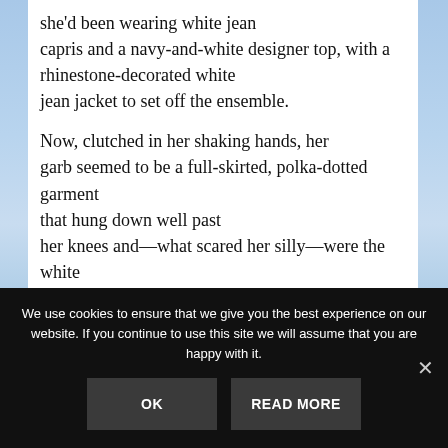she'd been wearing white jean capris and a navy-and-white designer top, with a rhinestone-decorated white jean jacket to set off the ensemble.
Now, clutched in her shaking hands, her garb seemed to be a full-skirted, polka-dotted garment that hung down well past her knees and—what scared her silly—were the white gloves covering her decidedly plump hands
***
We use cookies to ensure that we give you the best experience on our website. If you continue to use this site we will assume that you are happy with it.